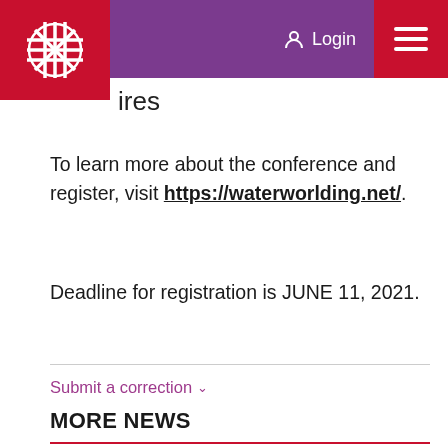Login
To learn more about the conference and register, visit https://waterworlding.net/.
Deadline for registration is JUNE 11, 2021.
Submit a correction
MORE NEWS